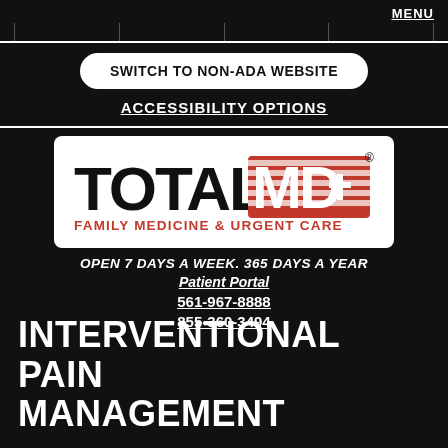MENU
SWITCH TO NON-ADA WEBSITE
ACCESSIBILITY OPTIONS
[Figure (logo): TotalMD Family Medicine & Urgent Care logo — black 'TOTAL' text and red striped 'MD' letters with a cross, 'FAMILY MEDICINE & URGENT CARE' in red below]
OPEN 7 DAYS A WEEK. 365 DAYS A YEAR
Patient Portal
561-967-8888
855-360-3494
INTERVENTIONAL PAIN MANAGEMENT